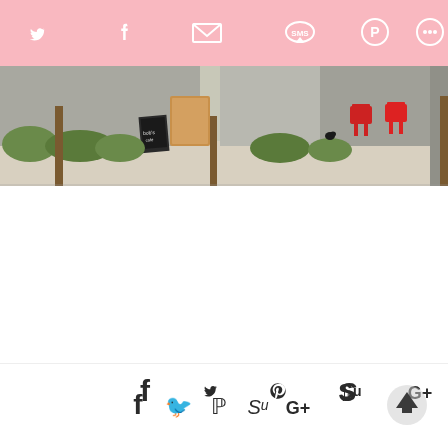[Figure (screenshot): Pink social media share bar at top with icons for Twitter, Facebook, Email, SMS, Pinterest, and More]
[Figure (photo): Outdoor storefront/cafe scene with green shrubbery, wooden poles, a chalkboard sign, and red chairs on a patio]
[Figure (screenshot): Bottom social share bar with icons for Facebook, Twitter, Pinterest, StumbleUpon, Google+, and scroll-to-top arrow button]